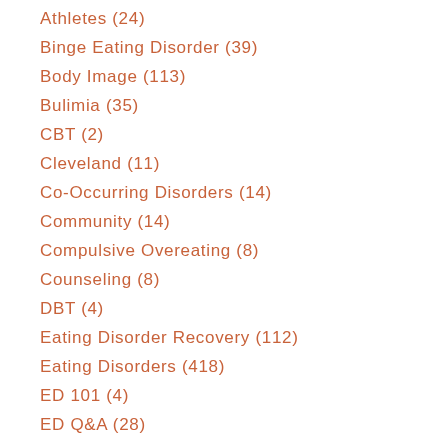Athletes (24)
Binge Eating Disorder (39)
Body Image (113)
Bulimia (35)
CBT (2)
Cleveland (11)
Co-Occurring Disorders (14)
Community (14)
Compulsive Overeating (8)
Counseling (8)
DBT (4)
Eating Disorder Recovery (112)
Eating Disorders (418)
ED 101 (4)
ED Q&A (28)